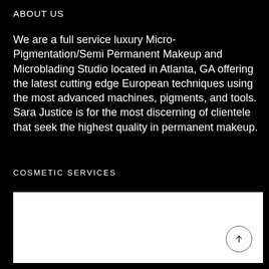ABOUT US
We are a full service luxury Micro-Pigmentation/Semi Permanent Makeup and Microblading Studio located in Atlanta, GA offering the latest cutting edge European techniques using the most advanced machines, pigments, and tools. Sara Justice is for the most discerning of clientele that seek the highest quality in permanent makeup.
COSMETIC SERVICES
[Figure (other): White rectangular box area representing a cosmetic services content placeholder, with a circular scroll-up button in the bottom-right corner containing an upward arrow.]